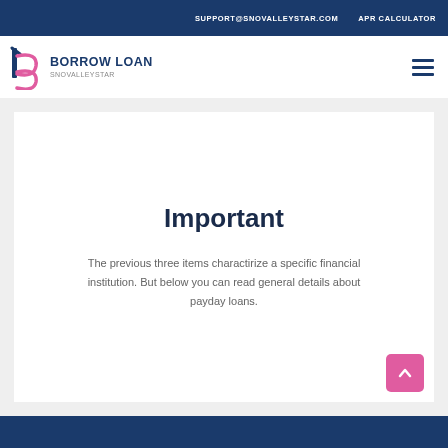SUPPORT@SNOVALLEYSTAR.COM   APR CALCULATOR
[Figure (logo): Borrow Loan Snovalleystar logo with stylized 'b' and 'p' letterforms in pink/magenta on left, and text 'BORROW LOAN' in dark blue uppercase bold and 'SNOVALLEYSTAR' in gray uppercase below]
Important
The previous three items charactirize a specific financial institution. But below you can read general details about payday loans.